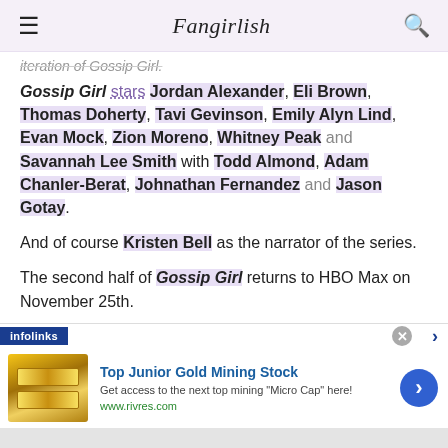Fangirlish
iteration of Gossip Girl.
Gossip Girl stars Jordan Alexander, Eli Brown, Thomas Doherty, Tavi Gevinson, Emily Alyn Lind, Evan Mock, Zion Moreno, Whitney Peak and Savannah Lee Smith with Todd Almond, Adam Chanler-Berat, Johnathan Fernandez and Jason Gotay.
And of course Kristen Bell as the narrator of the series.
The second half of Gossip Girl returns to HBO Max on November 25th.
[Figure (infographic): Infolinks advertisement banner for Top Junior Gold Mining Stock from www.rivres.com, showing gold bars image and a blue arrow button]